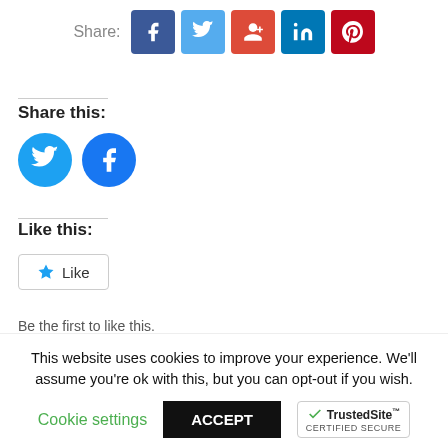Share: [Facebook] [Twitter] [Google+] [LinkedIn] [Pinterest]
Share this:
[Figure (other): Twitter and Facebook circular share icons]
Like this:
[Figure (other): Like button with star icon]
Be the first to like this.
Leave a Reply
This website uses cookies to improve your experience. We'll assume you're ok with this, but you can opt-out if you wish.
Cookie settings   ACCEPT
[Figure (logo): TrustedSite CERTIFIED SECURE badge]